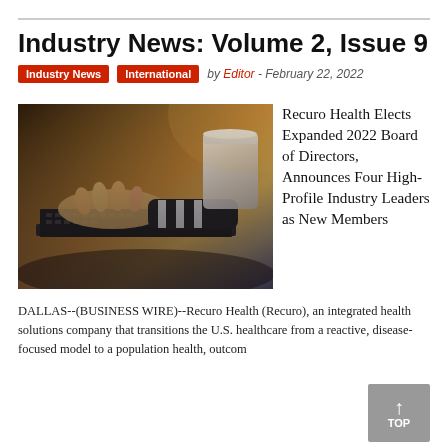Industry News: Volume 2, Issue 9
Industry News   International   by Editor - February 22, 2022
[Figure (photo): Person typing on a laptop keyboard, holding a pen, with a coffee cup in the background. Warm toned photography.]
Recuro Health Elects Expanded 2022 Board of Directors, Announces Four High-Profile Industry Leaders as New Members
DALLAS--(BUSINESS WIRE)--Recuro Health (Recuro), an integrated health solutions company that transitions the U.S. healthcare from a reactive, disease-focused model to a population health, outcom